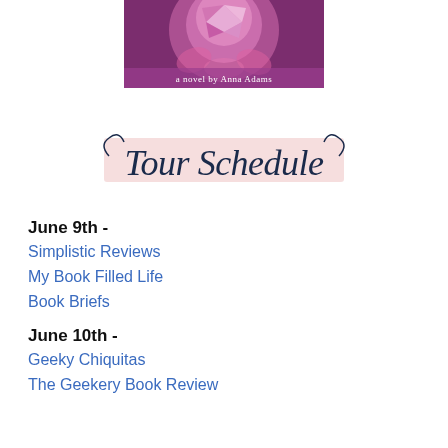[Figure (illustration): Book cover image for a novel by Anna Adams, featuring a pink/purple gemstone and anime-style character, with text 'a novel by Anna Adams']
[Figure (illustration): Decorative banner image with cursive text reading 'Tour Schedule' on a pale pink background with flourishes]
June 9th -
Simplistic Reviews
My Book Filled Life
Book Briefs
June 10th -
Geeky Chiquitas
The Geekery Book Review